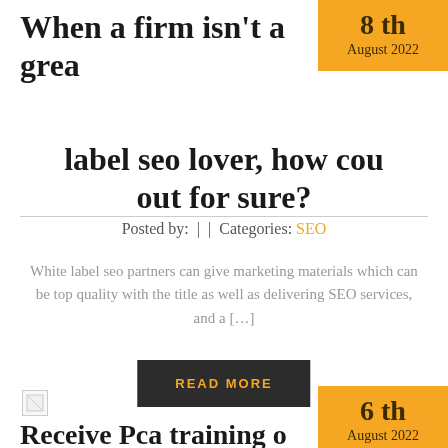When a firm isn't a great label seo lover, how could you find out for sure?
Posted by:  |  | Categories: SEO
White label seo partners can give marketing materials which can be top quality with the title as well as delivering SEO services, and a […]
READ MORE
[Figure (photo): Broken image placeholder for second article]
Receive Pca training o
6th August 2022
8th August 2022